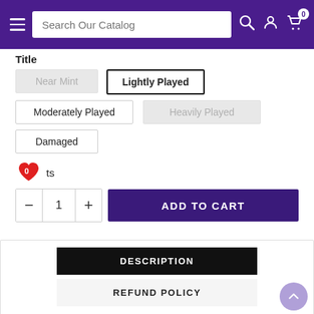[Figure (screenshot): E-commerce website navigation bar with hamburger menu, search box labeled 'Search Our Catalog', search icon, user account icon, and cart icon with badge showing 0]
Title
Near Mint (disabled button)
Lightly Played (selected button)
Moderately Played (button)
Heavily Played (disabled button)
Damaged (button)
0 ts (wishlist, heart icon with 0 badge)
- 1 + ADD TO CART
DESCRIPTION
REFUND POLICY